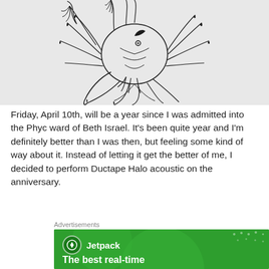[Figure (illustration): Black ink drawing of a phoenix or bird with feathers arranged in a circular/swirling pattern on a light grey background]
Friday, April 10th, will be a year since I was admitted into the Phyc ward of Beth Israel. It's been quite year and I'm definitely better than I was then, but feeling some kind of way about it. Instead of letting it get the better of me, I decided to perform Ductape Halo acoustic on the anniversary.
Advertisements
[Figure (screenshot): Green Jetpack advertisement banner with logo and tagline 'The best real-time']